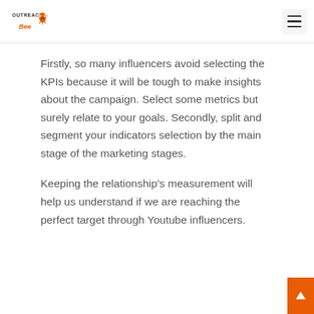Outreach Bee
Firstly, so many influencers avoid selecting the KPIs because it will be tough to make insights about the campaign. Select some metrics but surely relate to your goals. Secondly, split and segment your indicators selection by the main stage of the marketing stages.
Keeping the relationship’s measurement will help us understand if we are reaching the perfect target through Youtube influencers.